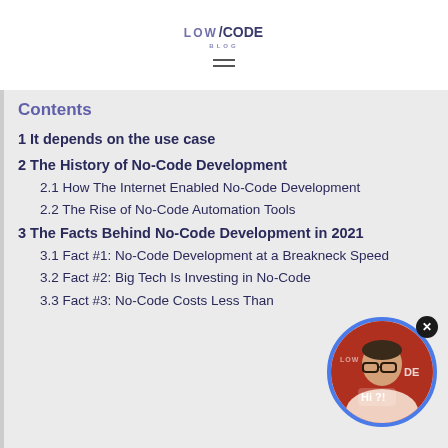LOW/CODE BLOG
Contents
1 It depends on the use case
2 The History of No-Code Development
2.1 How The Internet Enabled No-Code Development
2.2 The Rise of No-Code Automation Tools
3 The Facts Behind No-Code Development in 2021
3.1 Fact #1: No-Code Development at a Breakneck Speed
3.2 Fact #2: Big Tech Is Investing in No-Code
3.3 Fact #3: No-Code Costs Less Than
[Figure (photo): Chat widget showing a man with glasses and 'Hi?!' text bubble, LOW/CODE branding overlay, with a close button, circular blue border]